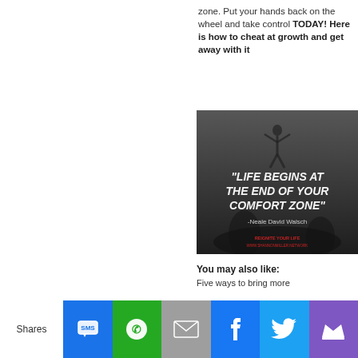zone. Put your hands back on the wheel and take control TODAY! Here is how to cheat at growth and get away with it
[Figure (illustration): Inspirational quote image with dark silhouette background. Text reads: "LIFE BEGINS AT THE END OF YOUR COMFORT ZONE" -Neale David Walsch. Branding text at bottom: REIGNITE YOUR LIFE, WWW.SHANNONMILLER.NETWORK]
You may also like: Five ways to bring more
Shares | SMS | WhatsApp | Email | Facebook | Twitter | Other